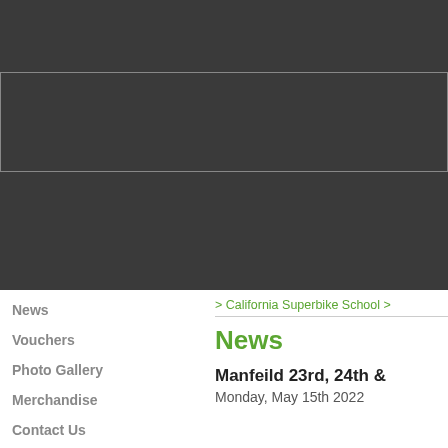[Figure (screenshot): Dark grey header area with a bordered banner box, representing a website navigation/header region]
News
Vouchers
Photo Gallery
Merchandise
Contact Us
> California Superbike School >
News
Manfeild 23rd, 24th &
Monday, May 15th 2022